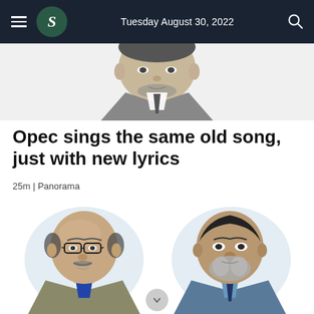Tuesday August 30, 2022
[Figure (illustration): Partial grayscale illustrated portrait of a person, cropped at shoulders, showing the upper body and head in sketch style]
Opec sings the same old song, just with new lyrics
25m | Panorama
[Figure (illustration): Two illustrated portraits side by side: left figure is a bald man with glasses, mustache, wearing a dark jacket and blue tie; right figure is a man with gray beard wearing a light blue shirt and dark tie. Both have light blue watercolor background accents.]